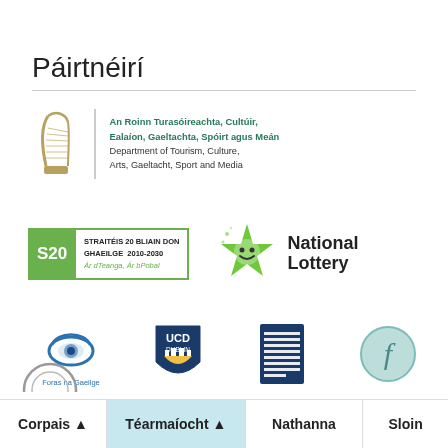Páirtnéirí
[Figure (logo): Irish Government harp logo with text: An Roinn Turasóireachta, Cultúir, Ealaíon, Gaeltachta, Spóirt agus Meán / Department of Tourism, Culture, Arts, Gaeltacht, Sport and Media]
[Figure (logo): S20 Straitéis 20 Bliain Don Ghaeilge 2010-2030 Ár dTeanga, Ár bPobal logo]
[Figure (logo): National Lottery logo (green star character with smiley face)]
[Figure (logo): Foras na Gaeilge logo (blue swirl eye)]
[Figure (logo): UCD Dublin shield logo]
[Figure (logo): Cruinniú Stairíochta Éireann National Folklore Collection logo (striped book/document)]
[Figure (logo): Stylised 'f' letter logo in teal circle]
[Figure (logo): Partial circle logo (partially visible at bottom)]
Corpais ▲  Téarmaíocht ▲  Nathanna  Sloin